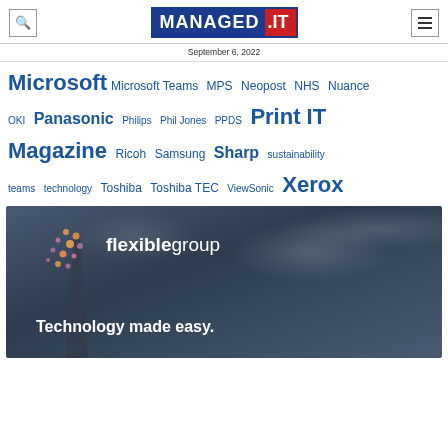MANAGED.IT — September 6, 2022
Microsoft  Microsoft Teams  MPS  Neopost  NHS  Nuance  OKI  Panasonic  Philips  Phil Jones  PPDS  Print IT Magazine  Ricoh  Samsung  Sharp  sustainability  teams  technology  Toshiba  Toshiba TEC  ViewSonic  Xerox
[Figure (photo): Flexible Group advertisement banner with city skyline (The Shard building), dot pattern, 'flexiblegroup' logo and tagline 'Technology made easy.' on a moody cloudy dark blue-grey background.]